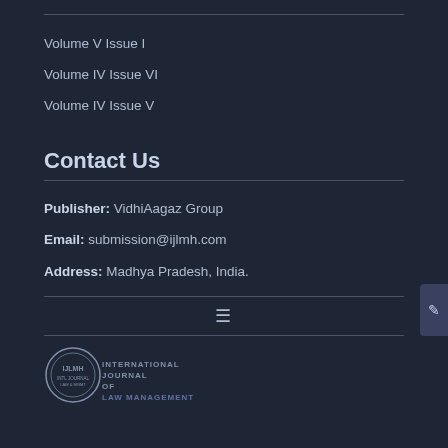Volume V Issue I
Volume IV Issue VI
Volume IV Issue V
Contact Us
Publisher: VidhiAagaz Group
Email: submission@ijlmh.com
Address: Madhya Pradesh, India.
[Figure (logo): IJLMH circular logo with text INTERNATIONAL JOURNAL OF LAW MANAGEMENT]
INTERNATIONAL JOURNAL OF LAW MANAGEMENT